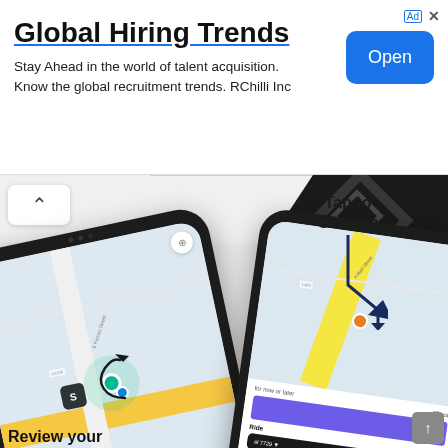[Figure (screenshot): Advertisement banner for RChilli Inc - Global Hiring Trends with Open button]
Global Hiring Trends
Stay Ahead in the world of talent acquisition. Know the global recruitment trends. RChilli Inc
[Figure (screenshot): Mobile app screenshots showing Uber-like ride-hailing app with map, location markers, and confirmation screen. Text annotations: 'Tap to Confirm' with arrow. Partial text at bottom: 'Review your']